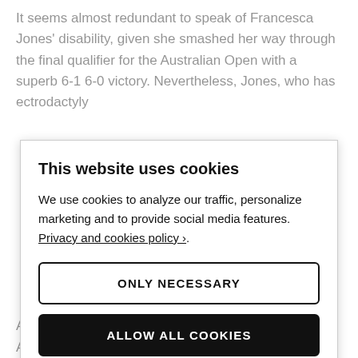It seems almost redundant to speak of Francesca Jones' disability, given she smashed her way through the final qualifier for the Australian Open with a superb 6-1 6-0 victory. Nevertheless, Jones, who has ectrodactyly
This website uses cookies
We use cookies to analyze our traffic, personalize marketing and to provide social media features. Privacy and cookies policy ›.
ONLY NECESSARY
ALLOW ALL COOKIES
CONFIGURE SETTINGS ›
Australia. It's 12 years since Nadal last won the Australian